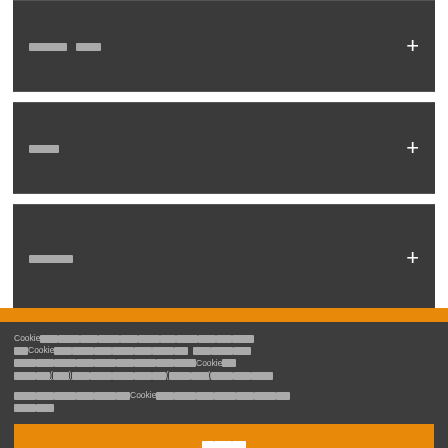ยกเว้น ประกัน
การส่ง
การชำระเงิน
Cookie — cookie consent notice in Thai with links
Cookie settings text paragraph 2 in Thai
ยอมรับ